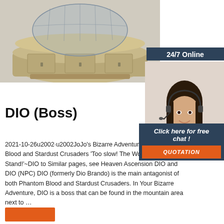[Figure (illustration): 3D rendering of an oval/elliptical reception desk or counter unit with cabinet doors, rendered in a tan/beige color with a glass top structure, on a light gray background.]
[Figure (photo): Advertisement overlay: dark navy banner reading '24/7 Online', photo of a smiling woman with dark hair wearing a headset (customer service representative), dark navy box with text 'Click here for free chat!' and orange 'QUOTATION' button.]
DIO (Boss)
2021-10-26u2002·u2002JoJo's Bizarre Adventure 3 - Phantom Blood and Stardust Crusaders 'Too slow! The World is the ultimate Stand!'~DIO to Similar pages, see Heaven Ascension DIO and DIO (NPC) DIO (formerly Dio Brando) is the main antagonist of both Phantom Blood and Stardust Crusaders. In Your Bizarre Adventure, DIO is a boss that can be found in the mountain area next to …